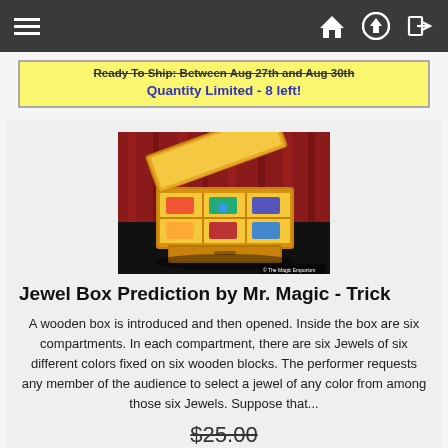Navigation bar with hamburger menu, home, upload, and login icons
Ready To Ship: Between Aug 27th and Aug 30th
Quantity Limited - 8 left!
[Figure (photo): A wooden jewel box with an open lid showing six compartments with colored jewels on wooden blocks, and a pull-out drawer at the front, photographed against a red curtain backdrop on a dark surface.]
Jewel Box Prediction by Mr. Magic - Trick
A wooden box is introduced and then opened. Inside the box are six compartments. In each compartment, there are six Jewels of six different colors fixed on six wooden blocks. The performer requests any member of the audience to select a jewel of any color from among those six Jewels. Suppose that...
$25.00